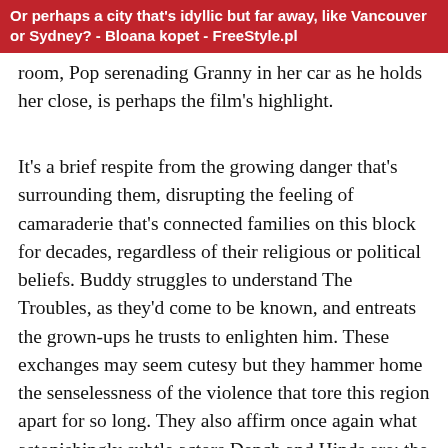Or perhaps a city that's idyllic but far away, like Vancouver or Sydney? - Blogana kopet - FreeStyle.pl
room, Pop serenading Granny in her car as he holds her close, is perhaps the film's highlight.
It's a brief respite from the growing danger that's surrounding them, disrupting the feeling of camaraderie that's connected families on this block for decades, regardless of their religious or political beliefs. Buddy struggles to understand The Troubles, as they'd come to be known, and entreats the grown-ups he trusts to enlighten him. These exchanges may seem cutesy but they hammer home the senselessness of the violence that tore this region apart for so long. They also affirm once again what astonishingly subtle actors Dench and Hinds are; the way they find nuance and heartache in simple platitudes is a marvel to behold. (And speaking of Marvel, Branagh inserts a brief but clever reference to his own role as a filmmaker shepherding along the MCU.)